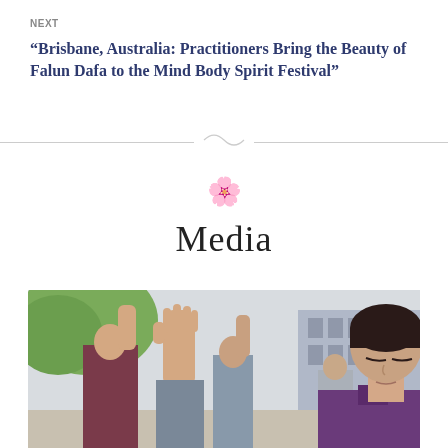NEXT
“Brisbane, Australia: Practitioners Bring the Beauty of Falun Dafa to the Mind Body Spirit Festival”
Media
[Figure (photo): People practicing Falun Dafa meditation exercises outdoors. A woman in a purple top is in the foreground with eyes closed and one hand raised. Other practitioners are visible in the background with a building and trees.]